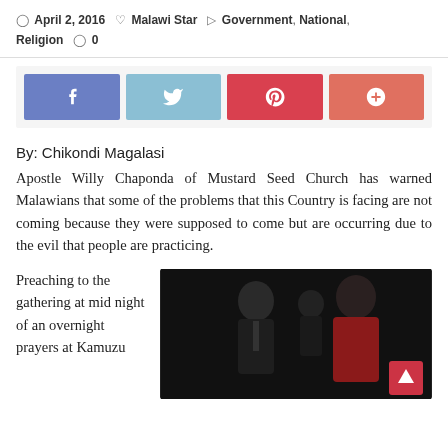April 2, 2016  Malawi Star  Government, National, Religion  0
[Figure (infographic): Social media sharing buttons: Facebook (blue-purple), Twitter (light blue), Pinterest (red), Google+ (salmon/coral)]
By: Chikondi Magalasi
Apostle Willy Chaponda of Mustard Seed Church has warned Malawians that some of the problems that this Country is facing are not coming because they were supposed to come but are occurring due to the evil that people are practicing.
Preaching to the gathering at mid night of an overnight prayers at Kamuzu
[Figure (photo): Dark photo of two people on stage: a man in a suit and a woman in a red outfit, with another person partially visible in the background. A red scroll-to-top button appears in the bottom right corner.]